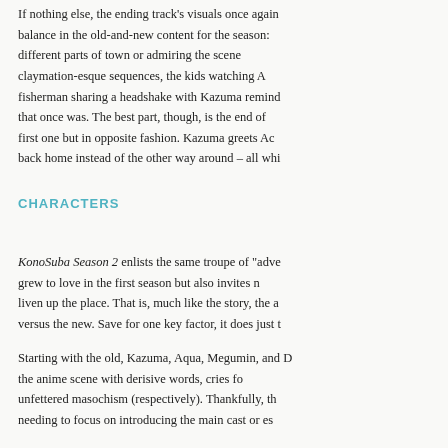If nothing else, the ending track's visuals once again balance in the old-and-new content for the season: different parts of town or admiring the scene claymation-esque sequences, the kids watching A fisherman sharing a headshake with Kazuma remind that once was. The best part, though, is the end of first one but in opposite fashion. Kazuma greets Ac back home instead of the other way around – all whi
CHARACTERS
KonoSuba Season 2 enlists the same troupe of "adve grew to love in the first season but also invites n liven up the place. That is, much like the story, the a versus the new. Save for one key factor, it does just t
Starting with the old, Kazuma, Aqua, Megumin, and D the anime scene with derisive words, cries fo unfettered masochism (respectively). Thankfully, th needing to focus on introducing the main cast or es